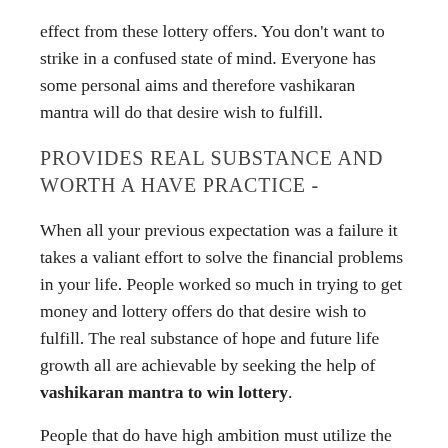effect from these lottery offers. You don't want to strike in a confused state of mind. Everyone has some personal aims and therefore vashikaran mantra will do that desire wish to fulfill.
PROVIDES REAL SUBSTANCE AND WORTH A HAVE PRACTICE -
When all your previous expectation was a failure it takes a valiant effort to solve the financial problems in your life. People worked so much in trying to get money and lottery offers do that desire wish to fulfill. The real substance of hope and future life growth all are achievable by seeking the help of vashikaran mantra to win lottery.
People that do have high ambition must utilize the lottery offers. It is not every day that you get this kind of